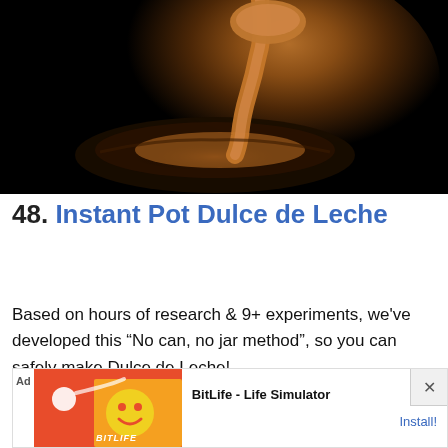[Figure (photo): Close-up photo of dulce de leche being drizzled from a spoon into a dark bowl, on a black background]
48. Instant Pot Dulce de Leche
Based on hours of research & 9+ experiments, we've developed this “No can, no jar method”, so you can safely make Dulce de Leche!
[Figure (screenshot): Ad banner: BitLife - Life Simulator with Install button]